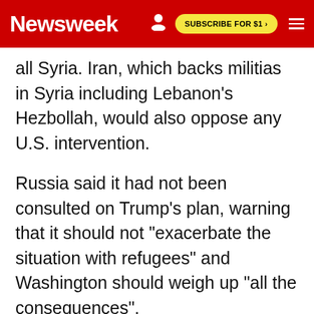Newsweek | SUBSCRIBE FOR $1 >
all Syria. Iran, which backs militias in Syria including Lebanon's Hezbollah, would also oppose any U.S. intervention.
Russia said it had not been consulted on Trump's plan, warning that it should not "exacerbate the situation with refugees" and Washington should weigh up "all the consequences".
NEWSWEEK SUBSCRIPTION OFFERS >
Major Policy Shift